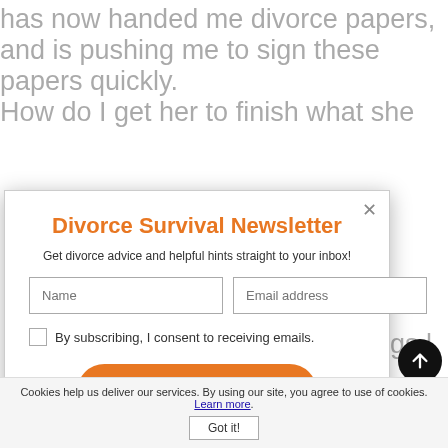has now handed me divorce papers, and is pushing me to sign these papers quickly. How do I get her to finish what she...
[Figure (screenshot): Divorce Survival Newsletter subscription modal popup with name and email fields, consent checkbox, and Subscribe Now button]
option is to just set up an appointment with her so you can talk in person. T...
Cookies help us deliver our services. By using our site, you agree to use of cookies. Learn more.
Got it!